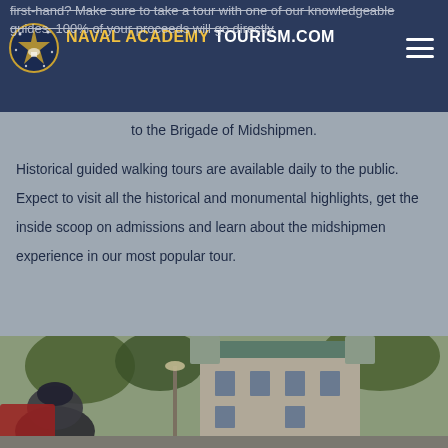NAVAL ACADEMY TOURISM.COM
first-hand? Make sure to take a tour with one of our knowledgeable guides. 100% of your proceeds will go directly to the Brigade of Midshipmen.
Historical guided walking tours are available daily to the public. Expect to visit all the historical and monumental highlights, get the inside scoop on admissions and learn about the midshipmen experience in our most popular tour.
[Figure (photo): Street-level photo showing a person in a dark cap in the foreground and a historic multi-story building with a green roof in the background, with trees and a street lamp visible.]